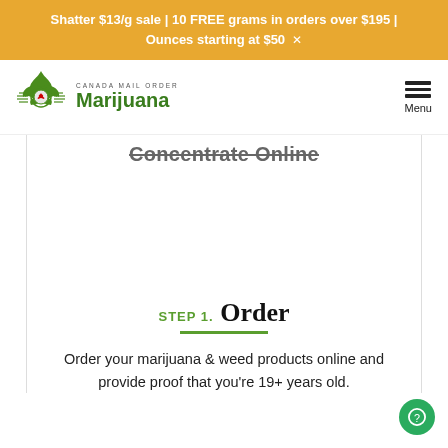Shatter $13/g sale | 10 FREE grams in orders over $195 | Ounces starting at $50  ✕
[Figure (logo): Canada Mail Order Marijuana logo with marijuana leaf graphic and circular emblem]
Concentrate Online
STEP 1. Order
Order your marijuana & weed products online and provide proof that you're 19+ years old.